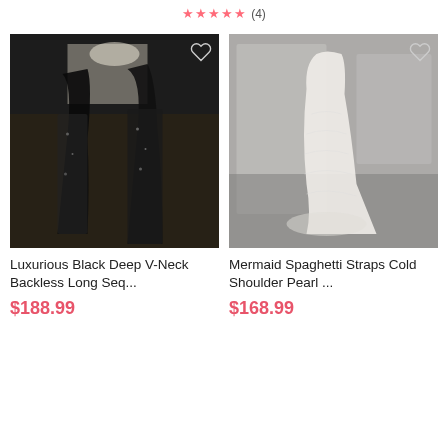★★★★☆ (4)
[Figure (photo): Two women wearing black sequin deep v-neck backless long mermaid gowns in a boutique setting]
[Figure (photo): Woman taking mirror selfie wearing white/ivory mermaid lace cold shoulder spaghetti strap gown with train]
Luxurious Black Deep V-Neck Backless Long Seq...
$188.99
Mermaid Spaghetti Straps Cold Shoulder Pearl ...
$168.99